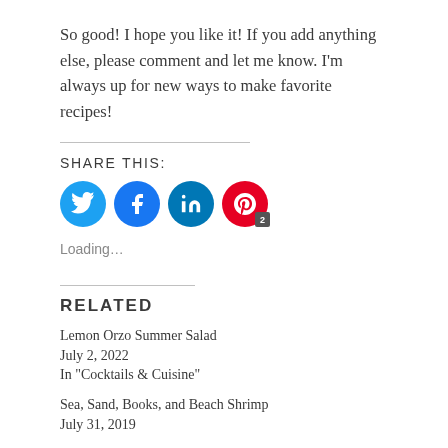So good! I hope you like it! If you add anything else, please comment and let me know. I'm always up for new ways to make favorite recipes!
SHARE THIS:
[Figure (other): Social media share icons: Twitter (blue circle with bird), Facebook (blue circle with f), LinkedIn (blue circle with in), Pinterest (red circle with P, badge showing 2)]
Loading…
RELATED
Lemon Orzo Summer Salad
July 2, 2022
In "Cocktails & Cuisine"
Sea, Sand, Books, and Beach Shrimp
July 31, 2019